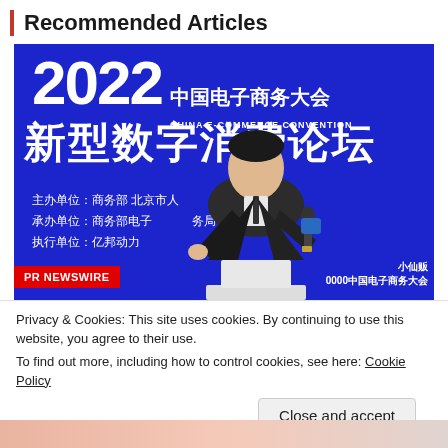Recommended Articles
[Figure (photo): Conference photo: Speaker at 2022 China E-Commerce Convention (中国电子商务大会 新型数字消费论坛) standing at podium with microphone in front of large blue banner. PR NEWSWIRE badge visible in bottom left corner.]
Privacy & Cookies: This site uses cookies. By continuing to use this website, you agree to their use.
To find out more, including how to control cookies, see here: Cookie Policy
Close and accept